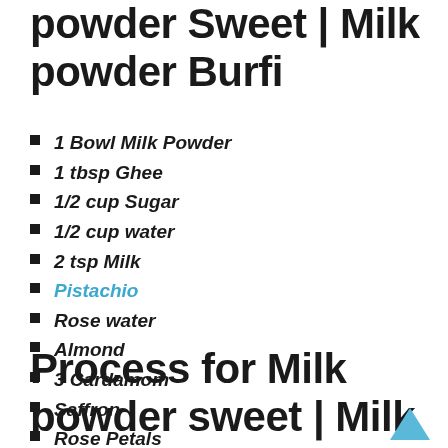powder Sweet | Milk powder Burfi
1 Bowl Milk Powder
1 tbsp Ghee
1/2 cup Sugar
1/2 cup water
2 tsp Milk
Pistachio
Rose water
Almond
3 Cardamom
Saffron
Rose Petals
Process for Milk powder sweet | Milk powder Burfi